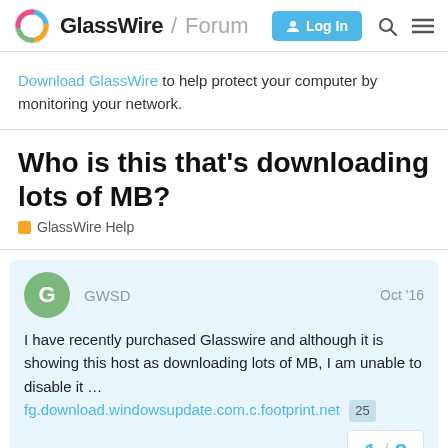GlassWire / Forum — Log In
Download GlassWire to help protect your computer by monitoring your network.
Who is this that's downloading lots of MB?
GlassWire Help
GWSD  Oct '16
I have recently purchased Glasswire and although it is showing this host as downloading lots of MB, I am unable to disable it … fg.download.windowsupdate.com.c.footprint.net 25
Any ideas ?
1 / 8